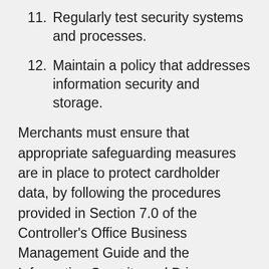11. Regularly test security systems and processes.
12. Maintain a policy that addresses information security and storage.
Merchants must ensure that appropriate safeguarding measures are in place to protect cardholder data, by following the procedures provided in Section 7.0 of the Controller's Office Business Management Guide and the Information Security and Privacy Office's PCI DSS Information Security Requirements. The following university policies must be followed regarding the protection and destruction of